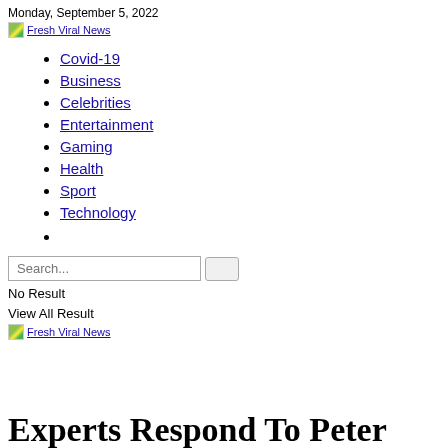Monday, September 5, 2022
[Figure (logo): Fresh Viral News logo image with link]
Covid-19
Business
Celebrities
Entertainment
Gaming
Health
Sport
Technology
Search...
No Result
View All Result
[Figure (logo): Fresh Viral News logo image with link]
Experts Respond To Peter